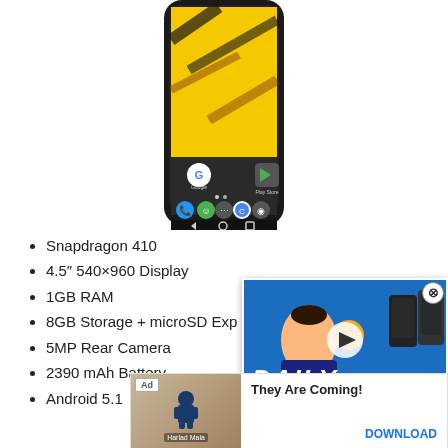[Figure (photo): Bottom portion of a Motorola Android smartphone showing the home screen with Google and Play Store icons, navigation buttons, and a yellow/black wallpaper.]
Snapdragon 410
4.5" 540×960 Display
1GB RAM
8GB Storage + microSD Exp
5MP Rear Camera
2390 mAh Battery
Android 5.1
[Figure (screenshot): Video player overlay showing two Pixel phones, a man's face, burger emoji, and the text DAILY. with a play button. Has a close (X) button.]
[Figure (photo): Ad banner: thumbnail with a blue game character on wood background, text They Are Coming!, Ad badge, and DOWNLOAD button.]